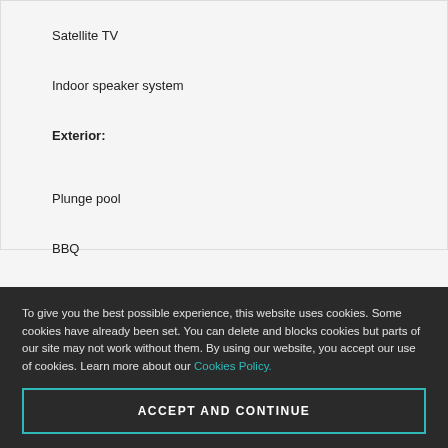Satellite TV
Indoor speaker system
Exterior:
Plunge pool
BBQ
Parking
To give you the best possible experience, this website uses cookies. Some cookies have already been set. You can delete and blocks cookies but parts of our site may not work without them. By using our website, you accept our use of cookies. Learn more about our Cookies Policy.
ACCEPT AND CONTINUE